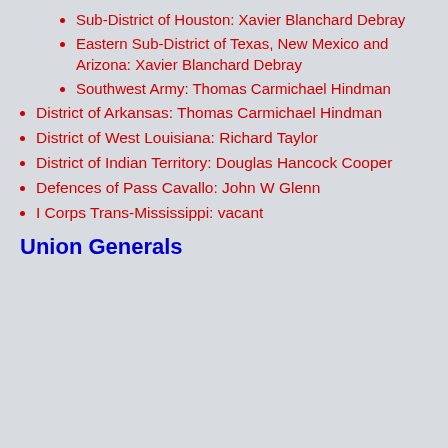Sub-District of Houston: Xavier Blanchard Debray
Eastern Sub-District of Texas, New Mexico and Arizona: Xavier Blanchard Debray
Southwest Army: Thomas Carmichael Hindman
District of Arkansas: Thomas Carmichael Hindman
District of West Louisiana: Richard Taylor
District of Indian Territory: Douglas Hancock Cooper
Defences of Pass Cavallo: John W Glenn
I Corps Trans-Mississippi: vacant
Union Generals